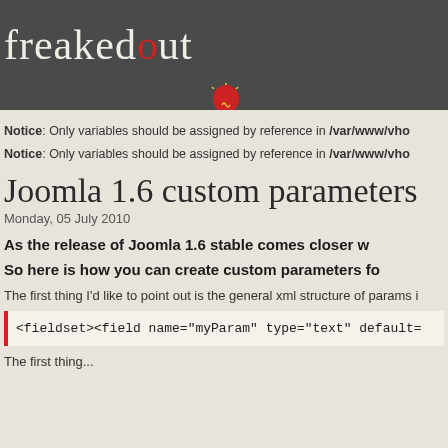freakedOut
Notice: Only variables should be assigned by reference in /var/www/vho
Notice: Only variables should be assigned by reference in /var/www/vho
Joomla 1.6 custom parameters
Monday, 05 July 2010
As the release of Joomla 1.6 stable comes closer w
So here is how you can create custom parameters fo
The first thing I'd like to point out is the general xml structure of params i
[Figure (screenshot): Code block showing XML: <fieldset><field name="myParam" type="text" default=]
The first thing...